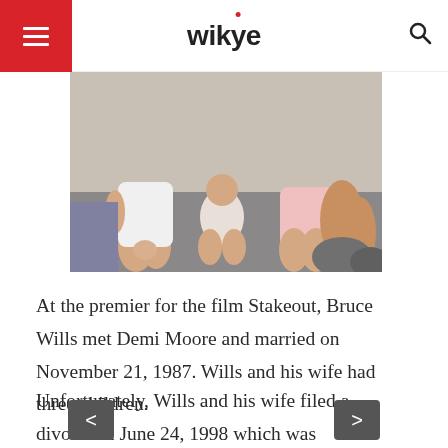wikye
[Figure (photo): A family photo showing children and adults sitting together, cropped to show laps and hands. A child in white dress on the left, a baby in the middle, and a child in pink dress on the right held by an adult.]
At the premier for the film Stakeout, Bruce Wills met Demi Moore and married on November 21, 1987. Wills and his wife had three children.
Unfortunately, Wills and his wife filed a divorce in June 24, 1998 which was
< >